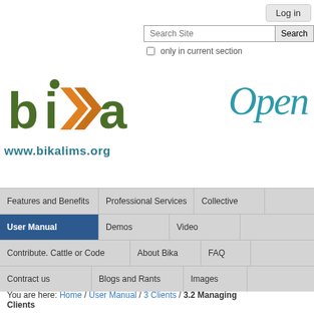Log in
Search Site | Search | only in current section
[Figure (logo): Bika LIMS logo with green and orange stylized letters 'bika' and URL www.bikalims.org below]
[Figure (other): Partial teal italic handwritten-style text reading 'Ope' (Open) on the right side]
Features and Benefits | Professional Services | Collective | User Manual | Demos | Video | Contribute. Cattle or Code | About Bika | FAQ | Contract us | Blogs and Rants | Images
You are here: Home / User Manual / 3 Clients / 3.2 Managing Clients